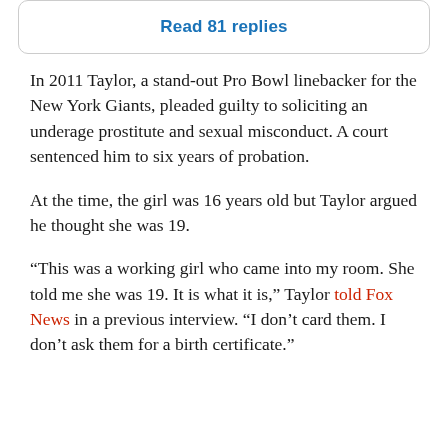Read 81 replies
In 2011 Taylor, a stand-out Pro Bowl linebacker for the New York Giants, pleaded guilty to soliciting an underage prostitute and sexual misconduct. A court sentenced him to six years of probation.
At the time, the girl was 16 years old but Taylor argued he thought she was 19.
“This was a working girl who came into my room. She told me she was 19. It is what it is,” Taylor told Fox News in a previous interview. “I don’t card them. I don’t ask them for a birth certificate.”